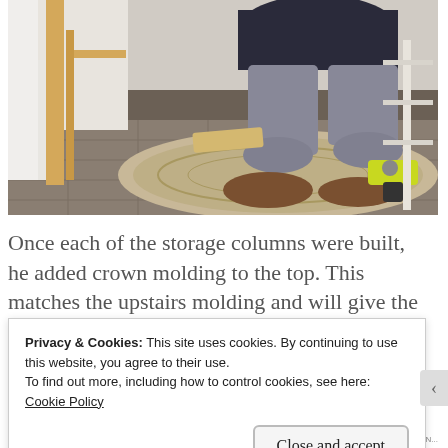[Figure (photo): A person kneeling on a decorative rug on a tiled floor, working on wooden storage column framing near a white door. A yellow power drill (Ryobi) is visible on the floor beside them. Wood framing structure is visible on the left side.]
Once each of the storage columns were built, he added crown molding to the top. This matches the upstairs molding and will give the
Privacy & Cookies: This site uses cookies. By continuing to use this website, you agree to their use.
To find out more, including how to control cookies, see here: Cookie Policy
Close and accept